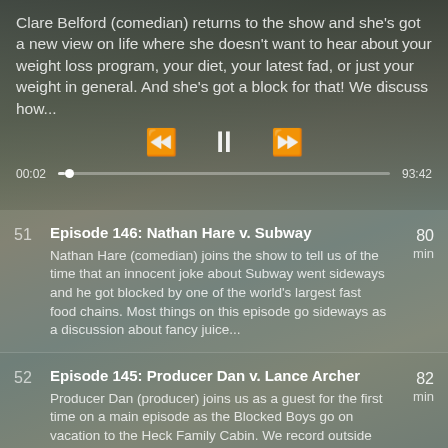Clare Belford (comedian) returns to the show and she's got a new view on life where she doesn't want to hear about your weight loss program, your diet, your latest fad, or just your weight in general. And she's got a block for that! We discuss how...
00:02   [progress bar]   93:42
51  Episode 146: Nathan Hare v. Subway  80 min  Nathan Hare (comedian) joins the show to tell us of the time that an innocent joke about Subway went sideways and he got blocked by one of the world's largest fast food chains. Most things on this episode go sideways as a discussion about fancy juice...
52  Episode 145: Producer Dan v. Lance Archer  82 min  Producer Dan (producer) joins us as a guest for the first time on a main episode as the Blocked Boys go on vacation to the Heck Family Cabin. We record outside so you can enjoy the sounds of nature in the background as we talk about our usual BS and...
53  Episode 144: Raina Douris v. Joe Warmington  92 min  Raina Douris (NPR's World Cafe) joins the show to hearken back to her old days as a Toronto resident, as she tangles with one of the resident